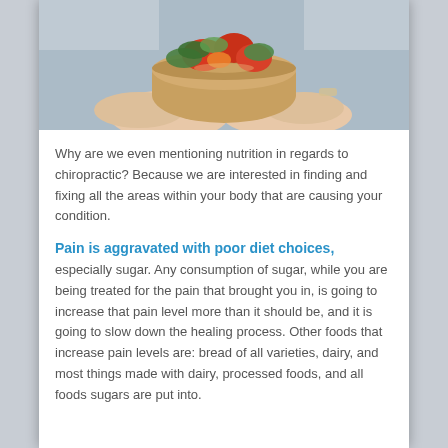[Figure (photo): Hands holding a paper bowl filled with fresh salad including tomatoes and greens]
Why are we even mentioning nutrition in regards to chiropractic? Because we are interested in finding and fixing all the areas within your body that are causing your condition.
Pain is aggravated with poor diet choices,
especially sugar. Any consumption of sugar, while you are being treated for the pain that brought you in, is going to increase that pain level more than it should be, and it is going to slow down the healing process. Other foods that increase pain levels are: bread of all varieties, dairy, and most things made with dairy, processed foods, and all foods sugars are put into.